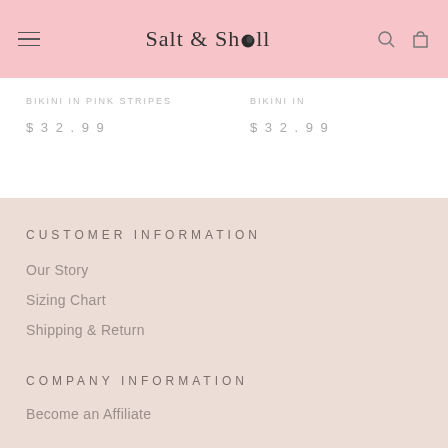Salt & Shell
BIKINI IN PINK STRIPES   $32.99   BIKINI IN   $32.99
CUSTOMER INFORMATION
Our Story
Sizing Chart
Shipping & Return
COMPANY INFORMATION
Become an Affiliate